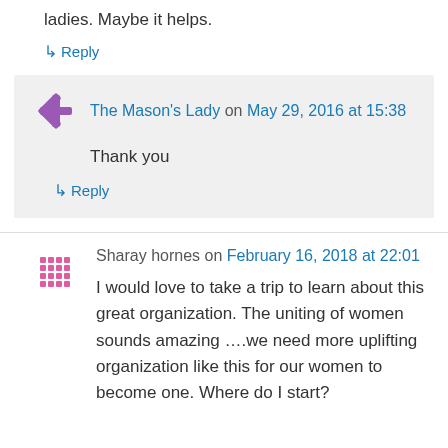ladies. Maybe it helps.
↳ Reply
The Mason's Lady on May 29, 2016 at 15:38
Thank you
↳ Reply
Sharay hornes on February 16, 2018 at 22:01
I would love to take a trip to learn about this great organization. The uniting of women sounds amazing ….we need more uplifting organization like this for our women to become one. Where do I start?